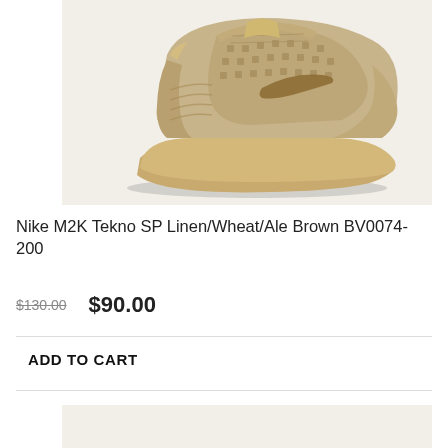[Figure (photo): Nike M2K Tekno SP sneaker in linen/wheat/ale brown colorway, side profile view on light beige background]
Nike M2K Tekno SP Linen/Wheat/Ale Brown BV0074-200
$130.00  $90.00
ADD TO CART
[Figure (photo): Partial view of another Nike sneaker product image (cropped at bottom of page)]